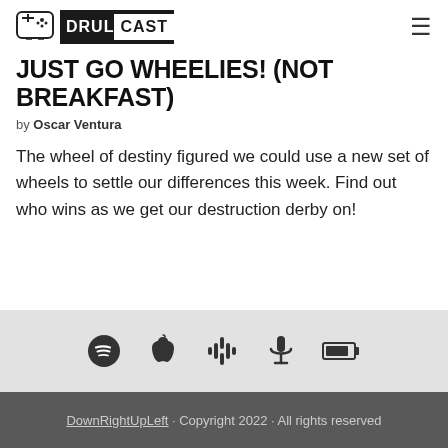[Figure (logo): Drulcast logo with game controller icon and DRULCAST text in black box]
JUST GO WHEELIES! (NOT BREAKFAST)
by Oscar Ventura
The wheel of destiny figured we could use a new set of wheels to settle our differences this week. Find out who wins as we get our destruction derby on!
[Figure (infographic): Podcast platform icons: Spotify, Apple Podcasts, Google Podcasts, microphone/Anchor, and a battery/Castbox icon]
DownRightUpLeft · Copyright 2022 · All rights reserved